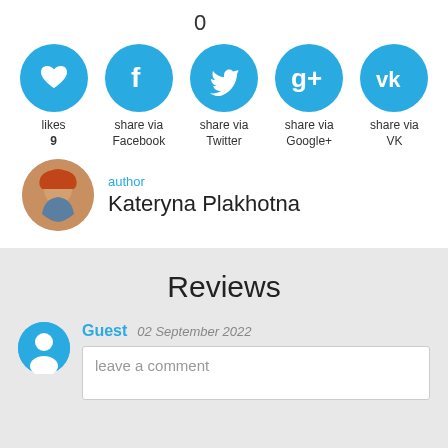0
[Figure (infographic): Row of five social sharing buttons as blue circles: heart (likes 9), Facebook, Twitter, Google+, VK]
likes
9
share via
Facebook
share via
Twitter
share via
Google+
share via
VK
[Figure (photo): Circular avatar photo of Kateryna Plakhotna, a woman with red hair]
author
Kateryna Plakhotna
Reviews
Guest  02 September 2022
leave a comment